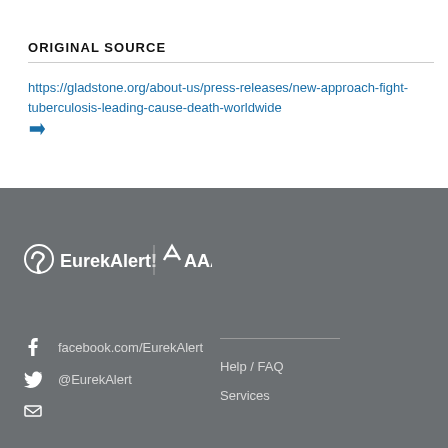ORIGINAL SOURCE
https://gladstone.org/about-us/press-releases/new-approach-fight-tuberculosis-leading-cause-death-worldwide
[Figure (logo): EurekAlert! and AAAS logos in white on grey footer background]
facebook.com/EurekAlert  @EurekAlert  Help / FAQ  Services